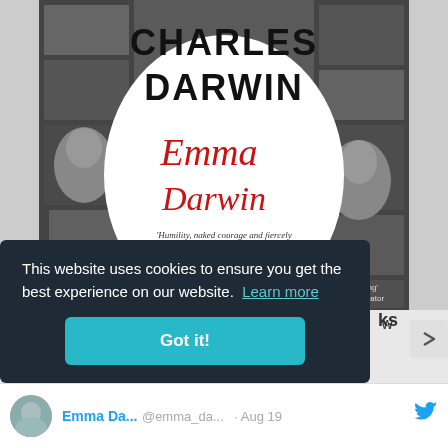[Figure (photo): Book cover of 'Charles Darwin: Emma Darwin' — black and white collage background with old photographs and documents, large bold text 'CHARLES DARWIN' at the top, cursive red text 'Emma Darwin' in the middle on a white oval, italic quote text 'Humility, naked courage and fiercely intelligent understanding of what writing a novel takes' Jenn Ashworth, and review quotes 'Frank, witty, digueur Saga Book of the Month' and 'Charming' The Spectator at the bottom.]
This website uses cookies to ensure you get the best experience on our website. Learn more
Got it!
ks
w
Emma Da...   @emma_da...  · Aug 19